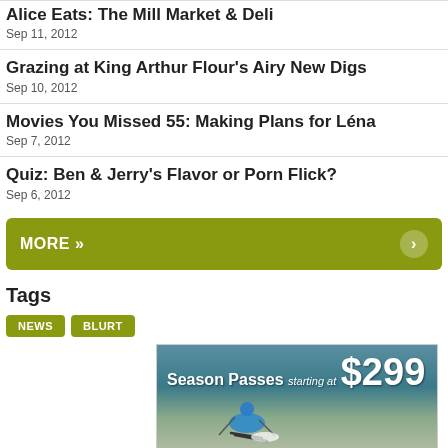Alice Eats: The Mill Market & Deli
Sep 11, 2012
Grazing at King Arthur Flour's Airy New Digs
Sep 10, 2012
Movies You Missed 55: Making Plans for Léna
Sep 7, 2012
Quiz: Ben & Jerry's Flavor or Porn Flick?
Sep 6, 2012
MORE »
Tags
NEWS  BLURT
[Figure (photo): Advertisement for Season Passes starting at $299, showing a skier on a snowy slope]